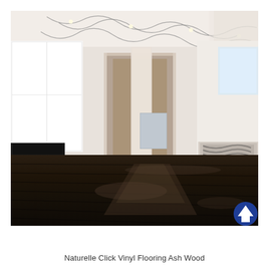[Figure (photo): Modern bedroom/open-plan living space with dark espresso-toned vinyl plank flooring, white walls, white glossy wardrobe/cabinets on the left, a flat-screen TV, a hallway visible in the center leading to another room, a white bed with patterned bedding on the right, and a decorative curved track lighting system on the white ceiling. A blue circular scroll-up arrow button is overlaid in the bottom-right corner of the image.]
Naturelle Click Vinyl Flooring Ash Wood